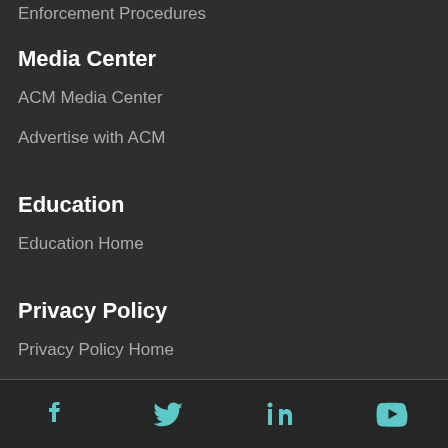Enforcement Procedures
Media Center
ACM Media Center
Advertise with ACM
Education
Education Home
Privacy Policy
Privacy Policy Home
[Figure (illustration): Social media icons: Facebook, Twitter, LinkedIn, YouTube in teal color on dark background footer bar]